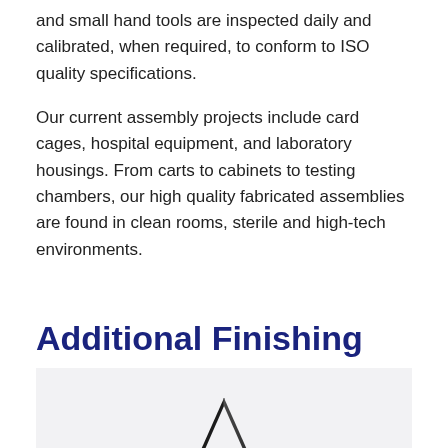and small hand tools are inspected daily and calibrated, when required, to conform to ISO quality specifications.
Our current assembly projects include card cages, hospital equipment, and laboratory housings. From carts to cabinets to testing chambers, our high quality fabricated assemblies are found in clean rooms, sterile and high-tech environments.
Additional Finishing
[Figure (photo): A dark metallic fabricated part, viewed from above at an angle, showing a triangular or angled black metal assembly component.]